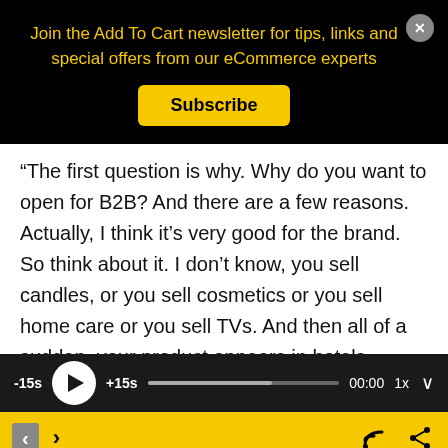Join the Add To Cart newsletter for tips, links and special offers from our eCommerce experts
Subscribe
“The first question is why. Why do you want to open for B2B? And there are a few reasons. Actually, I think it’s very good for the brand. So think about it. I don’t know, you sell candles, or you sell cosmetics or you sell home care or you sell TVs. And then all of a sudden, your product appears in hotels
-15s +15s 00:00 1x